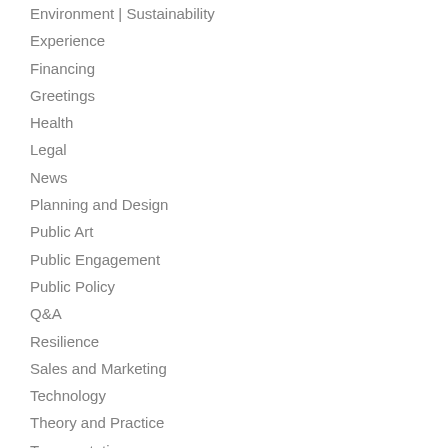Environment | Sustainability
Experience
Financing
Greetings
Health
Legal
News
Planning and Design
Public Art
Public Engagement
Public Policy
Q&A
Resilience
Sales and Marketing
Technology
Theory and Practice
Transportation
Uncategorized
Urban Fellows
Better! Cities and Towns
Black Urbanist
CATS
Center for Neighborhood Technology